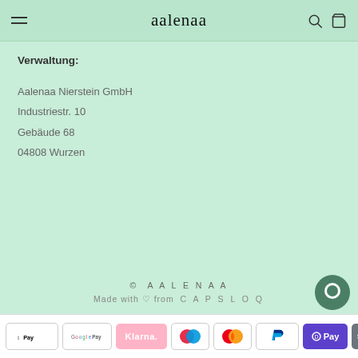aalenaa
Verwaltung:
Aalenaa Nierstein GmbH
Industriestr. 10
Gebäude 68
04808 Wurzen
© A A L E N A A
Made with ♡ from C A P S L O Q
[Figure (logo): Payment method logos: Apple Pay, Google Pay, Klarna, Maestro, Mastercard, PayPal, OPay, SOFORT]